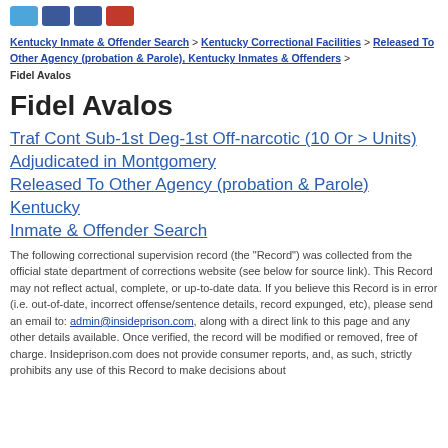[Figure (other): Social media share icons: Twitter (blue), Facebook (dark blue), Facebook (dark blue), YouTube/other (red)]
Kentucky Inmate & Offender Search > Kentucky Correctional Facilities > Released To Other Agency (probation & Parole), Kentucky Inmates & Offenders >
Fidel Avalos
Fidel Avalos
Traf Cont Sub-1st Deg-1st Off-narcotic (10 Or > Units)
Adjudicated in Montgomery
Released To Other Agency (probation & Parole)
Kentucky
Inmate & Offender Search
The following correctional supervision record (the "Record") was collected from the official state department of corrections website (see below for source link). This Record may not reflect actual, complete, or up-to-date data. If you believe this Record is in error (i.e. out-of-date, incorrect offense/sentence details, record expunged, etc), please send an email to: admin@insideprison.com, along with a direct link to this page and any other details available. Once verified, the record will be modified or removed, free of charge. Insideprison.com does not provide consumer reports, and, as such, strictly prohibits any use of this Record to make decisions about